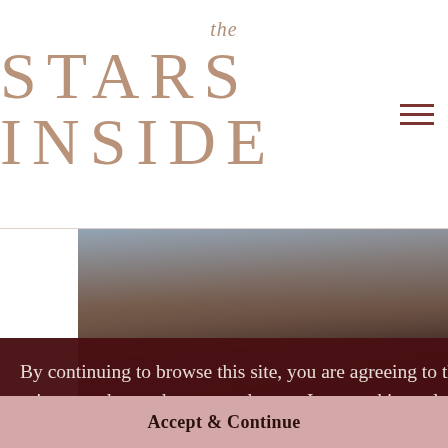the STARS INSIDE
[Figure (photo): Dark background photo of a person, partially visible behind the cookie consent overlay]
By continuing to browse this site, you are agreeing to the use of cookies - but I promise that I value your privacy and care about your data, so I use cookies only to give you a better user experience. P.S. A cookie is a small text file that allows me to analyse the site traffic patterns - it does not contain chocolate chips, you cannot eat it, and there is no special hidden jar. For now.
Learn more
Accept & Continue